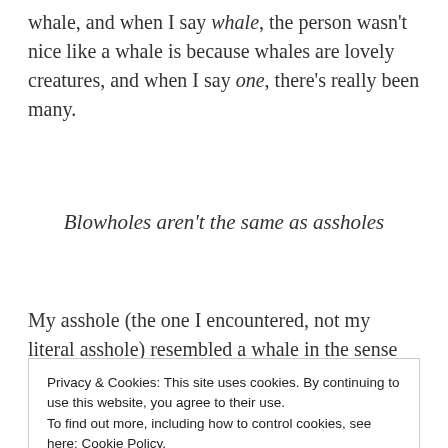whale, and when I say whale, the person wasn't nice like a whale is because whales are lovely creatures, and when I say one, there's really been many.
Blowholes aren't the same as assholes
My asshole (the one I encountered, not my literal asshole) resembled a whale in the sense that her
Privacy & Cookies: This site uses cookies. By continuing to use this website, you agree to their use.
To find out more, including how to control cookies, see here: Cookie Policy
Close and accept